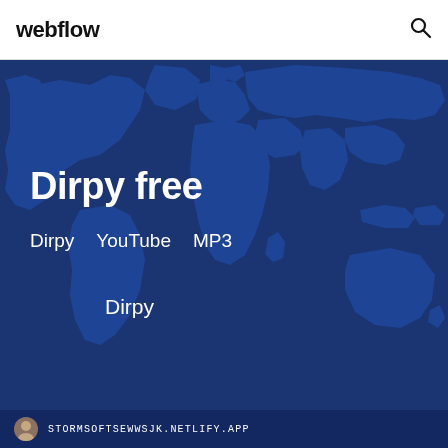webflow
[Figure (illustration): World map background on deep blue hero section]
Dirpy free
Dirpy   YouTube   MP3
Dirpy
STORMSOFTSEWWSJK.NETLIFY.APP